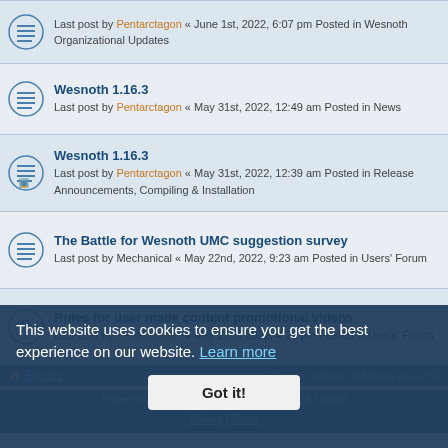Wesnoth 1.16.3 | Last post by Pentarctagon « May 31st, 2022, 12:49 am | Posted in News
Wesnoth 1.16.3 | Last post by Pentarctagon « May 31st, 2022, 12:39 am | Posted in Release Announcements, Compiling & Installation
The Battle for Wesnoth UMC suggestion survey | Last post by Mechanical « May 22nd, 2022, 9:23 am | Posted in Users' Forum
Rules for user made content promotional videos | Last post by Pentarctagon « May 20th, 2022, 4:22 pm | Posted in Users' Forum
Search found more than 1000 matches  1 2 3 4 5 ... 134
This website uses cookies to ensure you get the best experience on our website. Learn more  Got it!